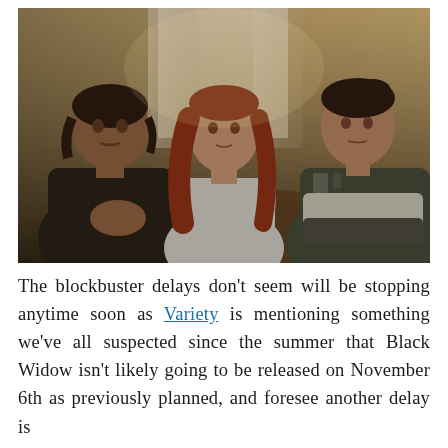[Figure (photo): Three women sitting at a table in a dimly lit room. The leftmost woman has dark hair in braids and wears a dark jacket. The center woman has long red hair and wears a light-colored outfit. The rightmost woman has dark hair pulled back and wears a tactical vest. There is a bottle and glasses on the table.]
The blockbuster delays don't seem will be stopping anytime soon as Variety is mentioning something we've all suspected since the summer that Black Widow isn't likely going to be released on November 6th as previously planned, and foresee another delay is